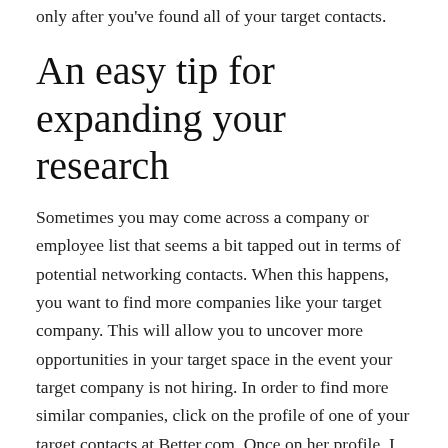only after you've found all of your target contacts.
An easy tip for expanding your research
Sometimes you may come across a company or employee list that seems a bit tapped out in terms of potential networking contacts. When this happens, you want to find more companies like your target company. This will allow you to uncover more opportunities in your target space in the event your target company is not hiring. In order to find more similar companies, click on the profile of one of your target contacts at Better.com. Once on her profile, I scroll down and to the right to see the LinkedIn feed called: People Also Viewed. These people have something in common with your target contact based on her profile and according to LinkedIn's algorithm. It could be similar